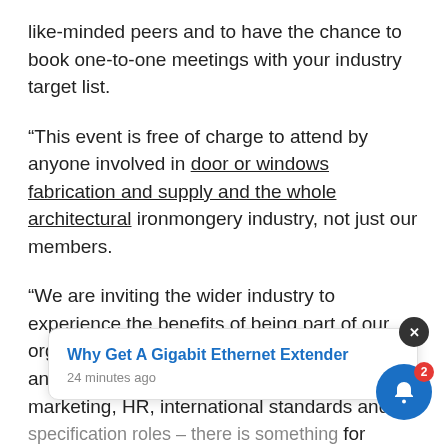like-minded peers and to have the chance to book one-to-one meetings with your industry target list.
“This event is free of charge to attend by anyone involved in door or windows fabrication and supply and the whole architectural ironmongery industry, not just our members.
“We are inviting the wider industry to experience the benefits of being part of our organisation, and it will be of relevance for anyone in research and technical, sales and marketing, HR, international standards and specification roles – there is something for everyone.
[partially obscured] interests, and [partially obscured] as pos[sible]